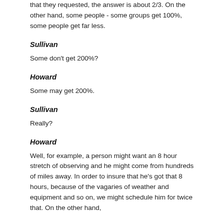that they requested, the answer is about 2/3. On the other hand, some people - some groups get 100%, some people get far less.
Sullivan
Some don't get 200%?
Howard
Some may get 200%.
Sullivan
Really?
Howard
Well, for example, a person might want an 8 hour stretch of observing and he might come from hundreds of miles away. In order to insure that he's got that 8 hours, because of the vagaries of weather and equipment and so on, we might schedule him for twice that. On the other hand,